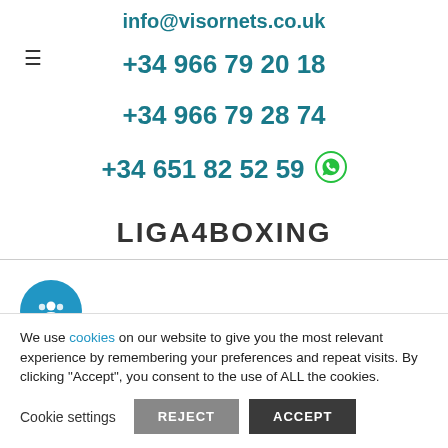info@visornets.co.uk
≡
+34 966 79 20 18
+34 966 79 28 74
+34 651 82 52 59 [WhatsApp]
[Figure (illustration): Blue circular button with white group/people icon]
LIGA4BOXING
We use cookies on our website to give you the most relevant experience by remembering your preferences and repeat visits. By clicking "Accept", you consent to the use of ALL the cookies.
Cookie settings  REJECT  ACCEPT